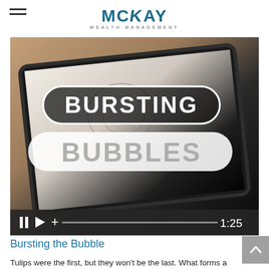MCKAY WEALTH MANAGEMENT
[Figure (screenshot): Video thumbnail showing a tablet device held in hands displaying 'BURSTING BUBBLES' text with video player controls showing 1:25 duration]
Bursting the Bubble
Tulips were the first, but they won't be the last. What forms a